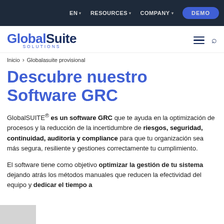EN   RESOURCES   COMPANY   DEMO
[Figure (logo): GlobalSuite SOLUTIONS logo with hamburger menu and search icon]
Inicio > Globalasuite provisional
Descubre nuestro Software GRC
GlobalSUITE® es un software GRC que te ayuda en la optimización de procesos y la reducción de la incertidumbre de riesgos, seguridad, continuidad, auditoría y compliance para que tu organización sea más segura, resiliente y gestiones correctamente tu cumplimiento.
El software tiene como objetivo optimizar la gestión de tu sistema dejando atrás los métodos manuales que reducen la efectividad del equipo y dedicar el tiempo a